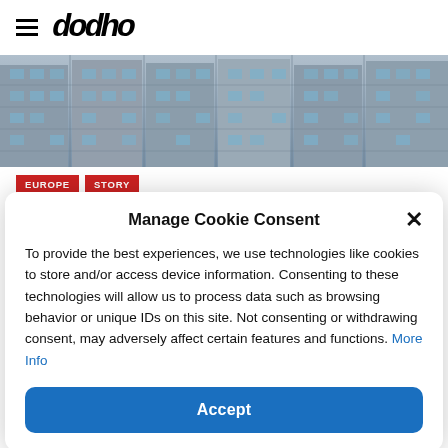dodho
[Figure (photo): Aerial/street-level view of Chinese residential apartment buildings with balconies and windows]
EUROPE
STORY
China In Progress By Rosa Rodriguez
Manage Cookie Consent
To provide the best experiences, we use technologies like cookies to store and/or access device information. Consenting to these technologies will allow us to process data such as browsing behavior or unique IDs on this site. Not consenting or withdrawing consent, may adversely affect certain features and functions. More Info
Accept